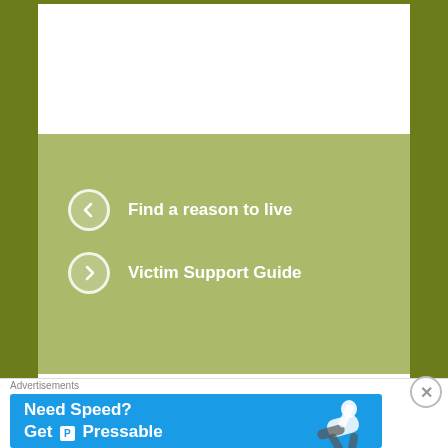Find a reason to live
Victim Support Guide
31 thoughts on “The Untold Victims”
Random Ramblings
Advertisements
[Figure (infographic): Ad banner: Need Speed? Get Pressable, on blue background with person flying]